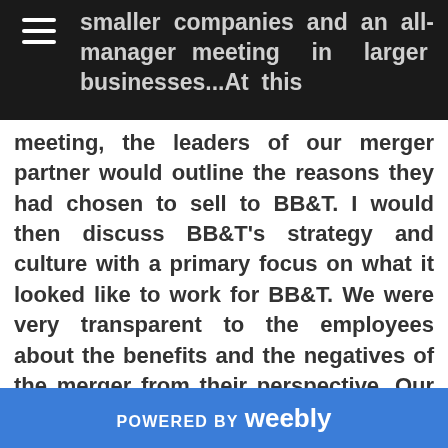smaller companies and an all-manager meeting in larger businesses...At this
meeting, the leaders of our merger partner would outline the reasons they had chosen to sell to BB&T. I would then discuss BB&T's strategy and culture with a primary focus on what it looked like to work for BB&T. We were very transparent to the employees about the benefits and the negatives of the merger from their perspective. Our goal was to eliminate as much ambiguity as possible. Ambiguity is more difficult to handle than bad news
POWERED BY weebly